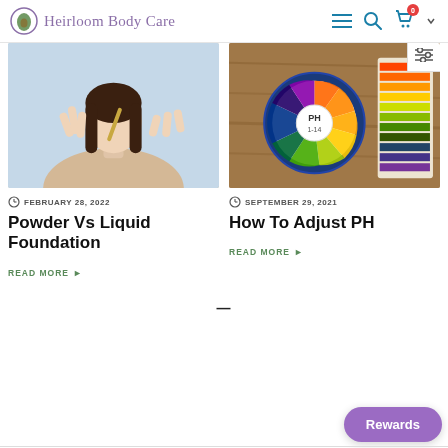Heirloom Body Care
[Figure (photo): Woman holding two fingers up near face with brownish-gold item, light blue background]
[Figure (photo): pH test strip wheel (1-14 range) with colorful test strips on a wooden surface]
FEBRUARY 28, 2022
SEPTEMBER 29, 2021
Powder Vs Liquid Foundation
How To Adjust PH
READ MORE
READ MORE
—
Rewards